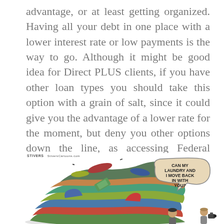advantage, or at least getting organized. Having all your debt in one place with a lower interest rate or low payments is the way to go. Although it might be good idea for Direct PLUS clients, if you have other loan types you should take this option with a grain of salt, since it could give you the advantage of a lower rate for the moment, but deny you other options down the line, as accessing Federal Forgiveness, pay as you earn (PAYE) or defaulting a few payments during economic hard times.
[Figure (illustration): A cartoon illustration showing a large colorful pile of laundry/clothes with a speech bubble saying 'CAN MY LAUNDRY AND I MOVE BACK IN WITH YOU?' and small figures of people standing nearby. There is a cartoonist credit watermark in the top-left corner reading 'STIVERS' and additional text.]